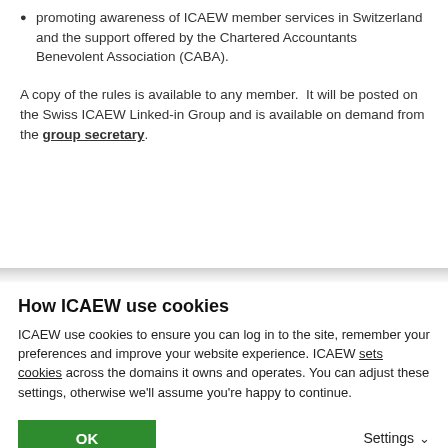promoting awareness of ICAEW member services in Switzerland and the support offered by the Chartered Accountants Benevolent Association (CABA).
A copy of the rules is available to any member.  It will be posted on the Swiss ICAEW Linked-in Group and is available on demand from the group secretary.
How ICAEW use cookies
ICAEW use cookies to ensure you can log in to the site, remember your preferences and improve your website experience. ICAEW sets cookies across the domains it owns and operates. You can adjust these settings, otherwise we'll assume you're happy to continue.
OK
Settings